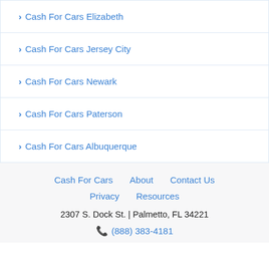Cash For Cars Elizabeth
Cash For Cars Jersey City
Cash For Cars Newark
Cash For Cars Paterson
Cash For Cars Albuquerque
Cash For Cars | About | Contact Us | Privacy | Resources
2307 S. Dock St. | Palmetto, FL 34221
(888) 383-4181